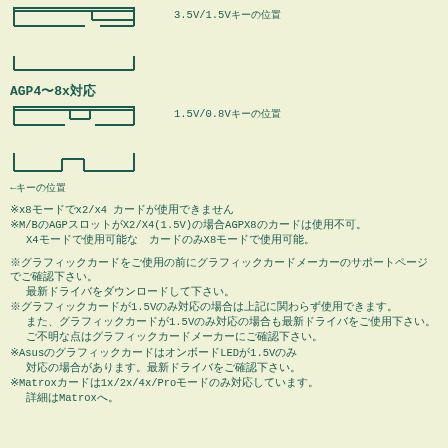[Figure (schematic): AGP connector schematic top portion showing 3.3V/1.5V keying notch positions]
3.5V/1.5Vキーの位置
[Figure (schematic): AGP connector schematic bottom portion]
AGP4〜8x対応
[Figure (schematic): AGP 4x/8x connector schematic top showing 1.5V/0.8V keying notch]
1.5V/0.8Vキーの位置
[Figure (schematic): AGP 4x/8x connector schematic bottom portion]
←キーの位置
※x8モードでx2/x4 カードが使用できません
※M/BのAGPスロットがX2/X4(1.5V)の場合AGPX8のカードは使用不可。
　X4モードで使用可能な　カードのみX8モードで使用可能。
※グラフィックカードをご使用の前にグラフィックカードメーカーのサポートページでご確認下さい。
　最新ドライバをダウンロードして下さい。
※グラフィックカードが1.5Vのみ対応の場合は上記に関わらず使用できます。
　また、グラフィックカードが1.5Vのみ対応の場合も最新ドライバをご使用下さい。
　ご不明な点はグラフィックカードメーカーにご確認下さい。
※AsusのグラフィックカードはオンボードLEDが1.5Vのみ
　対応の場合があります。最新ドライバをご確認下さい。
※Matroxカードは1x/2x/4x/Proモードのみ対応しています。
　詳細はMatroxへ。